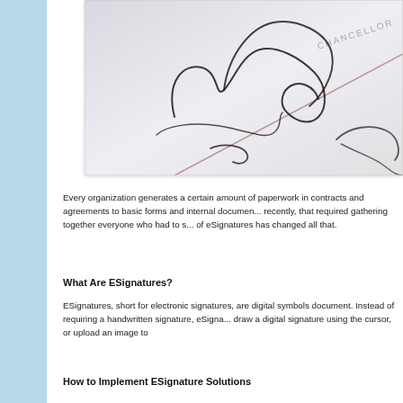[Figure (photo): Close-up photograph of a handwritten signature on a document with 'CHANCELLOR' text visible diagonally, styled in black ink on light paper background.]
Every organization generates a certain amount of paperwork in contracts and agreements to basic forms and internal documents. recently, that required gathering together everyone who had to sign of eSignatures has changed all that.
What Are ESignatures?
ESignatures, short for electronic signatures, are digital symbols document. Instead of requiring a handwritten signature, eSignatures draw a digital signature using the cursor, or upload an image to
How to Implement ESignature Solutions